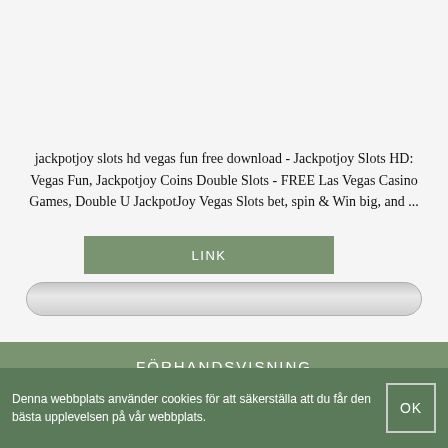jackpotjoy slots hd vegas fun free download - Jackpotjoy Slots HD: Vegas Fun, Jackpotjoy Coins Double Slots - FREE Las Vegas Casino Games, Double U JackpotJoy Vegas Slots bet, spin & Win big, and ...
LINK
FÖRHANDSVISNING
Denna webbplats använder cookies för att säkerställa att du får den bästa upplevelsen på vår webbplats.